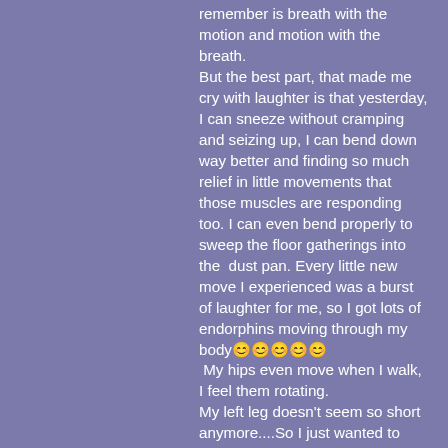remember is breath with the motion and motion with the breath. But the best part, that made me cry with laughter is that yesterday, I can sneeze without cramping and seizing up, I can bend down way better and finding so much relief in little movements that those muscles are responding too. I can even bend properly to sweep the floor gatherings into the  dust pan. Every little new move I experienced was a burst of laughter for me, so I got lots of endorphins moving through my body😊😊😊😊😊
 My hips even move when I walk, I feel them rotating.
My left leg doesn't seem so short anymore....So I just wanted to say, thanks so much it was a good session to go to with you.  I've been reading through that book and been telling all my friends about how this works!
 Hugs,  Pat Pringle